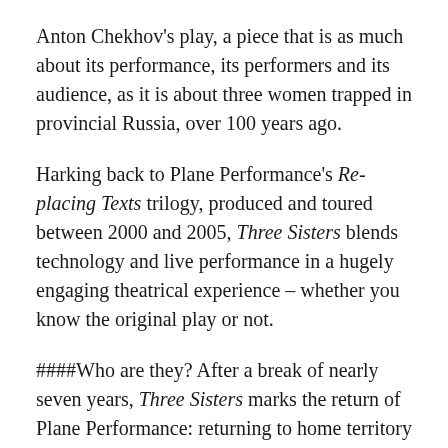Anton Chekhov's play, a piece that is as much about its performance, its performers and its audience, as it is about three women trapped in provincial Russia, over 100 years ago.
Harking back to Plane Performance's Re-placing Texts trilogy, produced and toured between 2000 and 2005, Three Sisters blends technology and live performance in a hugely engaging theatrical experience – whether you know the original play or not.
####Who are they? After a break of nearly seven years, Three Sisters marks the return of Plane Performance: returning to home territory but breaking new ground in the process. Once again directed by Neil Mackenzie, it features long time collaborator Niki Woods, Belgian theatreartist Ignatio Van De Cauter, and more from